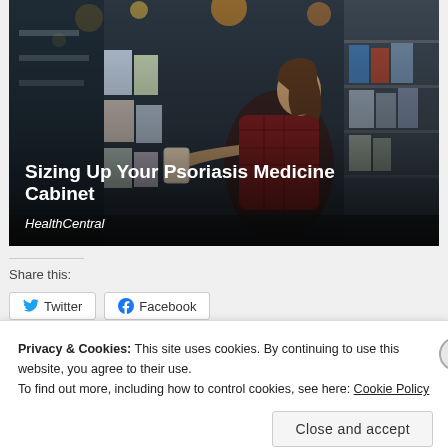[Figure (photo): Woman in a plaid shirt examining a product label in a pharmacy/drugstore aisle, with shelves of products visible on both sides and bokeh lights in background. Title overlay reads 'Sizing Up Your Psoriasis Medicine Cabinet' with source 'HealthCentral'.]
Share this:
Twitter  Facebook
Privacy & Cookies: This site uses cookies. By continuing to use this website, you agree to their use.
To find out more, including how to control cookies, see here: Cookie Policy
Close and accept